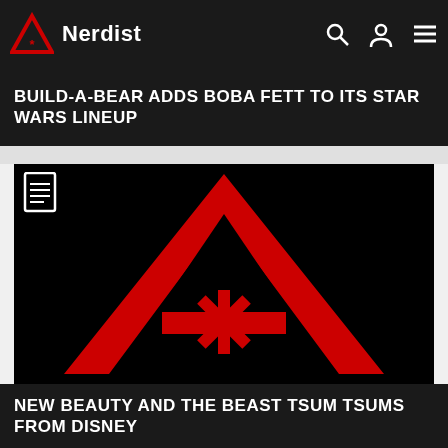Nerdist
BUILD-A-BEAR ADDS BOBA FETT TO ITS STAR WARS LINEUP
[Figure (logo): Nerdist logo red triangle with asterisk on black background]
NEW BEAUTY AND THE BEAST TSUM TSUMS FROM DISNEY